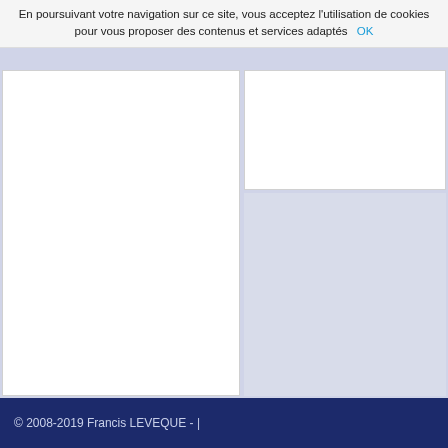En poursuivant votre navigation sur ce site, vous acceptez l'utilisation de cookies pour vous proposer des contenus et services adaptés  OK
[Figure (other): White content panel on the left side of the page]
[Figure (other): White panel on the upper right side of the page]
[Figure (other): Blue-gray panel on the lower right side of the page]
© 2008-2019 Francis LEVEQUE -  |